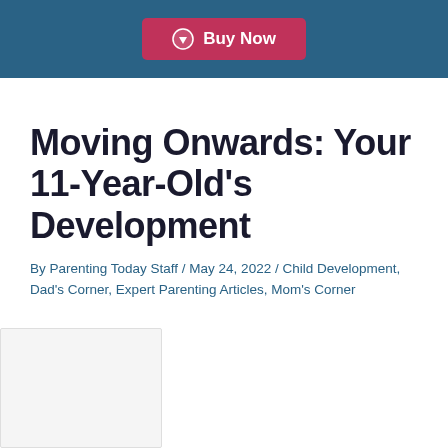[Figure (other): Buy Now button with download arrow icon on dark teal/blue header bar]
Moving Onwards: Your 11-Year-Old's Development
By Parenting Today Staff / May 24, 2022 / Child Development, Dad's Corner, Expert Parenting Articles, Mom's Corner
[Figure (other): Small thumbnail image placeholder in lower left corner]